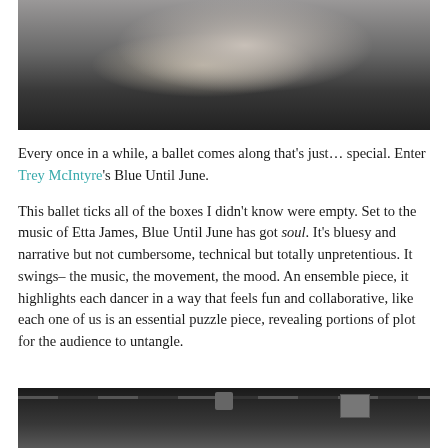[Figure (photo): Two ballet dancers on a dark stage floor. One dancer lifts/dips the other in a dramatic contemporary ballet pose. The lifted dancer is horizontal, wearing a grey top and dark pants. The supporting dancer is in a wide stance.]
Every once in a while, a ballet comes along that’s just… special. Enter Trey McIntyre’s Blue Until June.
This ballet ticks all of the boxes I didn’t know were empty. Set to the music of Etta James, Blue Until June has got soul. It’s bluesy and narrative but not cumbersome, technical but totally unpretentious. It swings– the music, the movement, the mood. An ensemble piece, it highlights each dancer in a way that feels fun and collaborative, like each one of us is an essential puzzle piece, revealing portions of plot for the audience to untangle.
[Figure (photo): Interior of a theater or performance venue showing an industrial ceiling with pipes, ducts, and rigging equipment. Dark atmosphere with grey and black tones.]